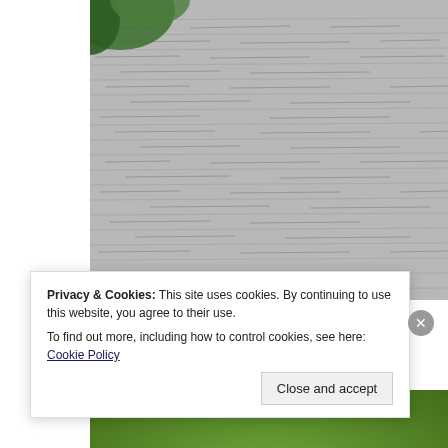[Figure (photo): Aerial or close-up view of rippling water with grey texture, with green foliage visible at top-left corner]
New Jersey is a Paddlers’ Paradise – Find Out Why
New Jersey Division of Travel & Tourism
[Figure (photo): Close-up of a paddle or oar blade against a green blurred background, with a metallic/silver handle visible]
Privacy & Cookies: This site uses cookies. By continuing to use this website, you agree to their use.
To find out more, including how to control cookies, see here: Cookie Policy
Close and accept